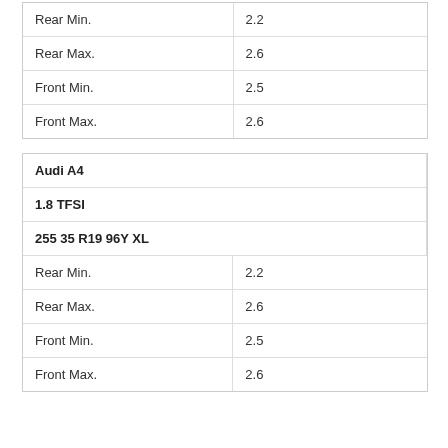| Rear Min. | 2.2 |
| Rear Max. | 2.6 |
| Front Min. | 2.5 |
| Front Max. | 2.6 |
| Audi A4 |  |
| --- | --- |
| 1.8 TFSI |  |
| 255 35 R19 96Y XL |  |
| Rear Min. | 2.2 |
| Rear Max. | 2.6 |
| Front Min. | 2.5 |
| Front Max. | 2.6 |